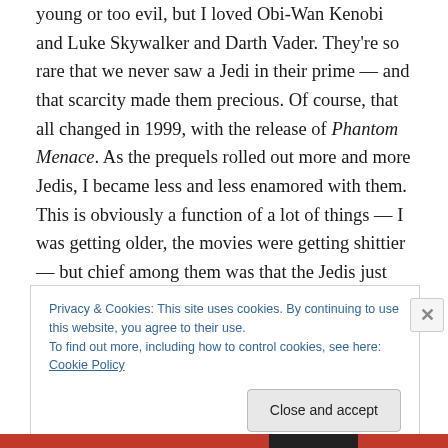young or too evil, but I loved Obi-Wan Kenobi and Luke Skywalker and Darth Vader. They're so rare that we never saw a Jedi in their prime — and that scarcity made them precious. Of course, that all changed in 1999, with the release of Phantom Menace. As the prequels rolled out more and more Jedis, I became less and less enamored with them. This is obviously a function of a lot of things — I was getting older, the movies were getting shittier — but chief among them was that the Jedis just weren't a valuable commodity anymore. I feared the same thing would happen with Owls and Talons in this series, but
Privacy & Cookies: This site uses cookies. By continuing to use this website, you agree to their use.
To find out more, including how to control cookies, see here: Cookie Policy